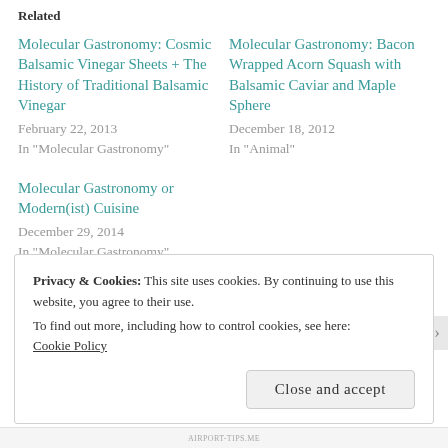Related
Molecular Gastronomy: Cosmic Balsamic Vinegar Sheets + The History of Traditional Balsamic Vinegar
February 22, 2013
In "Molecular Gastronomy"
Molecular Gastronomy: Bacon Wrapped Acorn Squash with Balsamic Caviar and Maple Sphere
December 18, 2012
In "Animal"
Molecular Gastronomy or Modern(ist) Cuisine
December 29, 2014
In "Molecular Gastronomy"
Privacy & Cookies: This site uses cookies. By continuing to use this website, you agree to their use.
To find out more, including how to control cookies, see here:
Cookie Policy
Close and accept